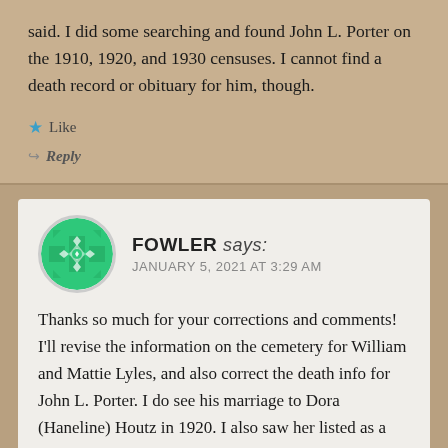said. I did some searching and found John L. Porter on the 1910, 1920, and 1930 censuses. I cannot find a death record or obituary for him, though.
★ Like
↪ Reply
FOWLER says: JANUARY 5, 2021 AT 3:29 AM
Thanks so much for your corrections and comments! I'll revise the information on the cemetery for William and Mattie Lyles, and also correct the death info for John L. Porter. I do see his marriage to Dora (Haneline) Houtz in 1920. I also saw her listed as a survivor in her father's obituary in 1929 using her